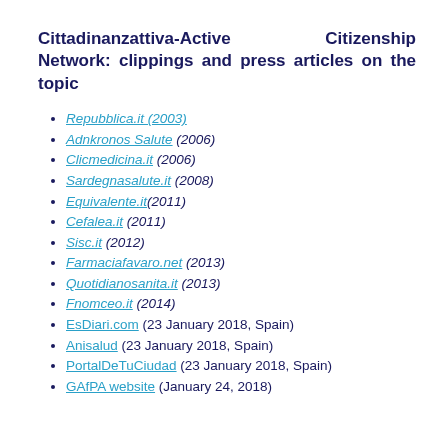Cittadinanzattiva-Active Citizenship Network: clippings and press articles on the topic
Repubblica.it (2003)
Adnkronos Salute (2006)
Clicmedicina.it (2006)
Sardegnasalute.it (2008)
Equivalente.it(2011)
Cefalea.it (2011)
Sisc.it (2012)
Farmaciafavaro.net (2013)
Quotidianosanita.it (2013)
Fnomceo.it (2014)
EsDiari.com (23 January 2018, Spain)
Anisalud (23 January 2018, Spain)
PortalDeTuCiudad (23 January 2018, Spain)
GAfPA website (January 24, 2018)